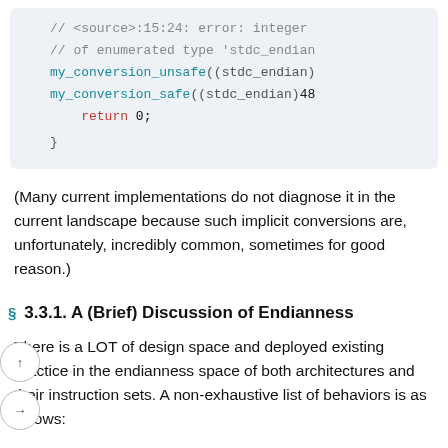[Figure (screenshot): Code block showing C++ code snippet with comments about integer conversion error and calls to my_conversion_unsafe and my_conversion_safe with stdc_endian argument, ending with return 0 and closing brace.]
(Many current implementations do not diagnose it in the current landscape because such implicit conversions are, unfortunately, incredibly common, sometimes for good reason.)
3.3.1. A (Brief) Discussion of Endianness
There is a LOT of design space and deployed existing practice in the endianness space of both architectures and their instruction sets. A non-exhaustive list of behaviors is as follows: